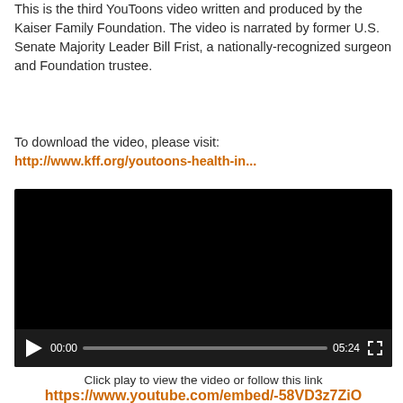This is the third YouToons video written and produced by the Kaiser Family Foundation. The video is narrated by former U.S. Senate Majority Leader Bill Frist, a nationally-recognized surgeon and Foundation trustee.
To download the video, please visit: http://www.kff.org/youtoons-health-in...
[Figure (screenshot): Embedded video player showing a black screen with playback controls at the bottom: play button, time 00:00, progress bar, duration 05:24, and fullscreen button.]
Click play to view the video or follow this link https://www.youtube.com/embed/-58VD3z7ZiO